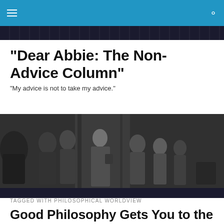navigation bar with hamburger menu and search icon
"Dear Abbie: The Non-Advice Column"
"My advice is not to take my advice."
[Figure (photo): Black and white photograph of a crowded scene with people in mid-20th century clothing, appears to be a film still or street scene]
TAGGED WITH PHILOSOPHICAL WORLDVIEW
Good Philosophy Gets You to the Bathroom in Time